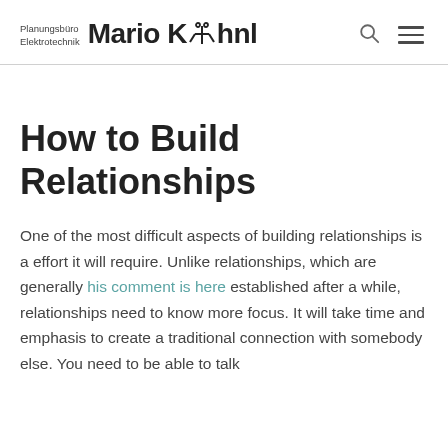Planungsbüro Elektrotechnik Mario Kühnl
How to Build Relationships
One of the most difficult aspects of building relationships is a effort it will require. Unlike relationships, which are generally his comment is here established after a while, relationships need to know more focus. It will take time and emphasis to create a traditional connection with somebody else. You need to be able to talk